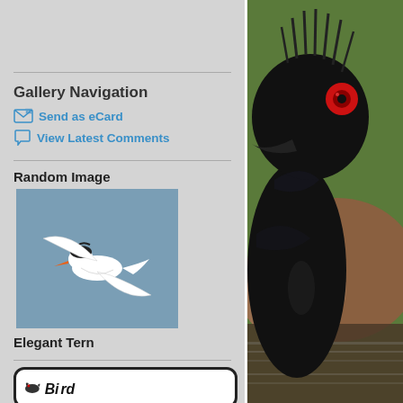Gallery Navigation
Send as eCard
View Latest Comments
Random Image
[Figure (photo): A white seabird (Elegant Tern) in flight against a blue-grey sky, wings spread, orange beak visible]
Elegant Tern
[Figure (logo): Partial logo with bird illustration and stylized text at bottom of left panel]
[Figure (photo): Close-up photograph of a black bird with a red eye and spiky crest, perched near rocks and water with green background]